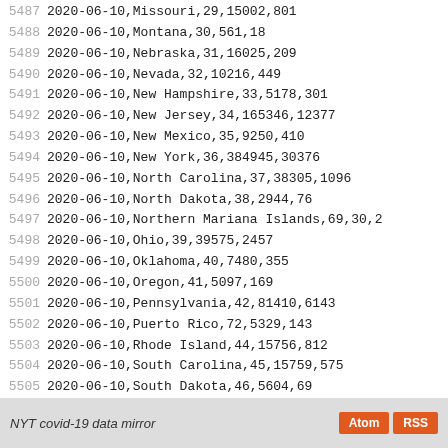| line | data |
| --- | --- |
| 5487 | 2020-06-10,Missouri,29,15002,801 |
| 5488 | 2020-06-10,Montana,30,561,18 |
| 5489 | 2020-06-10,Nebraska,31,16025,209 |
| 5490 | 2020-06-10,Nevada,32,10216,449 |
| 5491 | 2020-06-10,New Hampshire,33,5178,301 |
| 5492 | 2020-06-10,New Jersey,34,165346,12377 |
| 5493 | 2020-06-10,New Mexico,35,9250,410 |
| 5494 | 2020-06-10,New York,36,384945,30376 |
| 5495 | 2020-06-10,North Carolina,37,38305,1096 |
| 5496 | 2020-06-10,North Dakota,38,2944,76 |
| 5497 | 2020-06-10,Northern Mariana Islands,69,30,2 |
| 5498 | 2020-06-10,Ohio,39,39575,2457 |
| 5499 | 2020-06-10,Oklahoma,40,7480,355 |
| 5500 | 2020-06-10,Oregon,41,5097,169 |
| 5501 | 2020-06-10,Pennsylvania,42,81410,6143 |
| 5502 | 2020-06-10,Puerto Rico,72,5329,143 |
| 5503 | 2020-06-10,Rhode Island,44,15756,812 |
| 5504 | 2020-06-10,South Carolina,45,15759,575 |
| 5505 | 2020-06-10,South Dakota,46,5604,69 |
| 5506 | 2020-06-10,Tennessee,47,28379,436 |
| 5507 | 2020-06-10,Texas,48,81771,1916 |
| 5508 | 2020-06-10,Utah,49,12982,128 |
| 5509 | 2020-06-10,Vermont,50,1095,55 |
| 5510 | 2020-06-10,Virgin Islands,78,72,6 |
| 5511 | 2020-06-10,Virginia,51,52177,1514 |
| 5512 | 2020-06-10,Washington,53,25940,1183 |
| 5513 | 2020-06-10,West Virginia,54,2193,85 |
| 5514 | 2020-06-10,Wisconsin,55,21772,673 |
| 5515 | 2020-06-10,Wyoming,56,980,18 |
NYT covid-19 data mirror